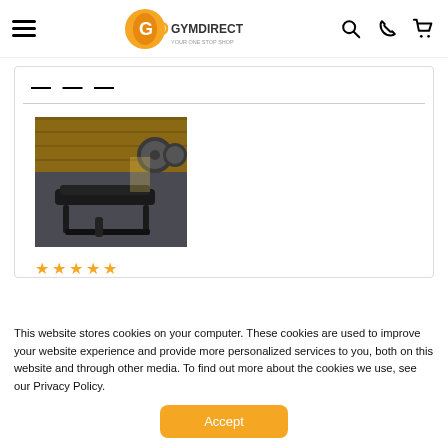Gym Direct - Your One Stop Shop
[Figure (photo): Gym equipment photo showing a bench and weights in a gym setting]
[Figure (other): Five gold star rating icons]
This website stores cookies on your computer. These cookies are used to improve your website experience and provide more personalized services to you, both on this website and through other media. To find out more about the cookies we use, see our Privacy Policy.
Accept